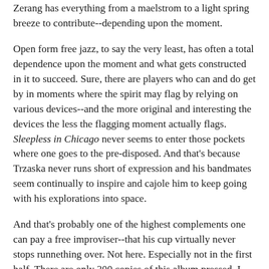Zerang has everything from a maelstrom to a light spring breeze to contribute--depending upon the moment.
Open form free jazz, to say the very least, has often a total dependence upon the moment and what gets constructed in it to succeed. Sure, there are players who can and do get by in moments where the spirit may flag by relying on various devices--and the more original and interesting the devices the less the flagging moment actually flags. Sleepless in Chicago never seems to enter those pockets where one goes to the pre-disposed. And that's because Trzaska never runs short of expression and his bandmates seem continually to inspire and cajole him to keep going with his explorations into space.
And that's probably one of the highest complements one can pay a free improviser--that his cup virtually never stops runnething over. Not here. Especially not in the first half. There are only 300 copies of this album pressed. I won't say "run to your nearest record store" because...there may not be one around you anymore. (Though Record Store Day is coming up and you should patronize!) Still, this is one to have. Seriously. If you are into the muse, the improvised...